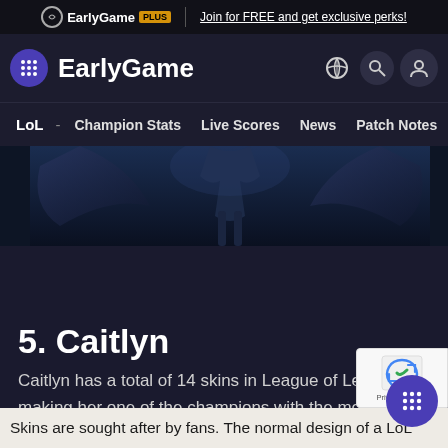EarlyGame PLUS | Join for FREE and get exclusive perks!
EarlyGame
LoL - Champion Stats Live Scores News Patch Notes Skin
[Figure (screenshot): Caitlyn champion splash art, dark blue-toned image showing the champion's lower body in a cinematic pose]
5. Caitlyn
Caitlyn has a total of 14 skins in League of Legends, making her one of the champions with the most skins. | © Riot Games
Skins are sought after by fans. The normal design of a LoL